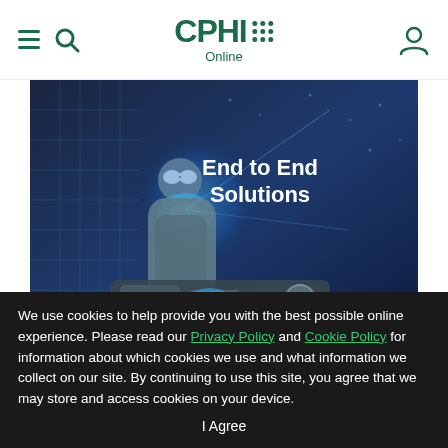CPHI Online — navigation header with hamburger menu, search icon, CPHI Online logo, and user icon
[Figure (photo): Pharmaceutical/biotech worker in protective gear and goggles holding glowing blue substance in a laboratory/manufacturing setting with robotic equipment. Text overlay reads 'End to End Solutions'.]
We use cookies to help provide you with the best possible online experience. Please read our Privacy Policy and Cookie Policy for information about which cookies we use and what information we collect on our site. By continuing to use this site, you agree that we may store and access cookies on your device.
I Agree